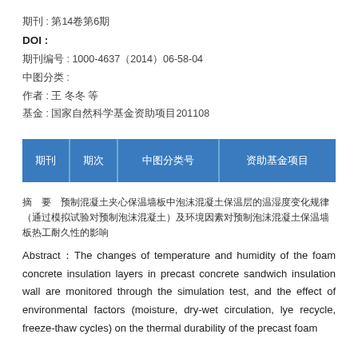期刊 : 第14卷第6期
DOI :
期刊编号 : 1000-4637（2014）06-58-04
中图分类 :
作者 : 王 冬冬 等
基金 : 国家自然科学基金资助项目201108
| 期刊 | 期次 | 中图分类号 | 资助基金项目 |
| --- | --- | --- | --- |
摘　要　预制混凝土夹心保温墙板中泡沫混凝土保温层的温湿度变化规律（通过模拟试验对预制泡沫混凝土）及环境因素对预制泡沫混凝土保温墙板热工耐久性的影响
Abstract：The changes of temperature and humidity of the foam concrete insulation layers in precast concrete sandwich insulation wall are monitored through the simulation test, and the effect of environmental factors (moisture, dry-wet circulation, lye recycle, freeze-thaw cycles) on the thermal durability of the precast foam